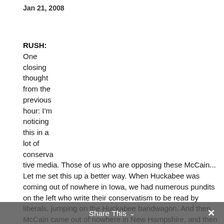Jan 21, 2008
RUSH: One closing thought from the previous hour: I'm noticing this in a lot of conserva tive media. Those of us who are opposing these McCain... Let me set this up a better way. When Huckabee was coming out of nowhere in Iowa, we had numerous pundits on the left who write their conservatism to be read by liberals, jumping on the Huckabee bandwagon. And then McCain came out of nowhere in New Hampshire, and then
Share This